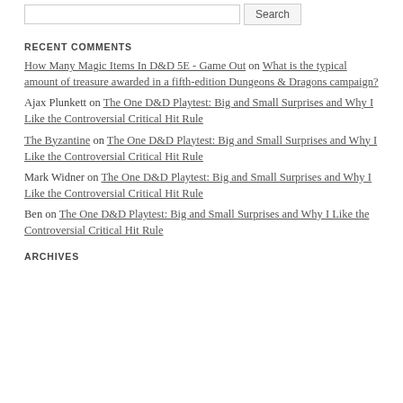RECENT COMMENTS
How Many Magic Items In D&D 5E - Game Out on What is the typical amount of treasure awarded in a fifth-edition Dungeons & Dragons campaign?
Ajax Plunkett on The One D&D Playtest: Big and Small Surprises and Why I Like the Controversial Critical Hit Rule
The Byzantine on The One D&D Playtest: Big and Small Surprises and Why I Like the Controversial Critical Hit Rule
Mark Widner on The One D&D Playtest: Big and Small Surprises and Why I Like the Controversial Critical Hit Rule
Ben on The One D&D Playtest: Big and Small Surprises and Why I Like the Controversial Critical Hit Rule
ARCHIVES